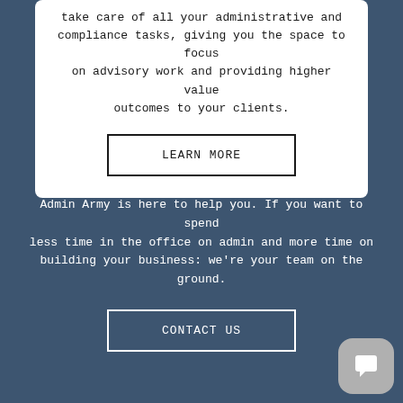take care of all your administrative and compliance tasks, giving you the space to focus on advisory work and providing higher value outcomes to your clients.
LEARN MORE
Admin Army is here to help you. If you want to spend less time in the office on admin and more time on building your business: we're your team on the ground.
CONTACT US